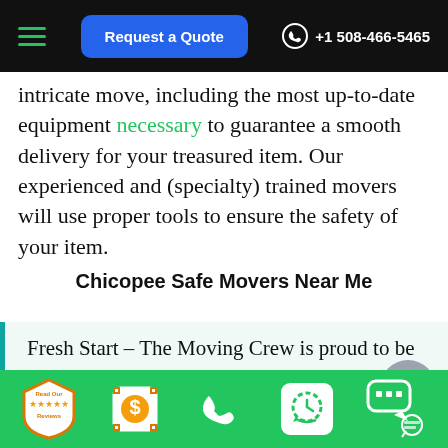Request a Quote | +1 508-466-5465
intricate move, including the most up-to-date equipment necessary to guarantee a smooth delivery for your treasured item. Our experienced and (specialty) trained movers will use proper tools to ensure the safety of your item.
Chicopee Safe Movers Near Me
Fresh Start – The Moving Crew is proud to be your leading local Chicopee, MA moving company. We're based in Chicopee, MA and our commitment to the area shows in our extensive
Read Our Reviews | $ | Phone | Clock | Chat